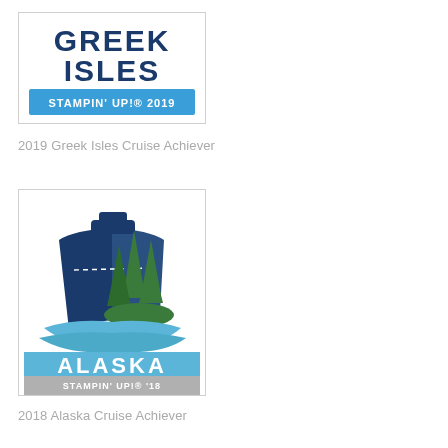[Figure (logo): Greek Isles Stampin' Up! 2019 cruise achiever logo with blue text]
2019 Greek Isles Cruise Achiever
[Figure (logo): Alaska Stampin' Up! '18 cruise achiever logo with cruise ship and pine trees illustration]
2018 Alaska Cruise Achiever